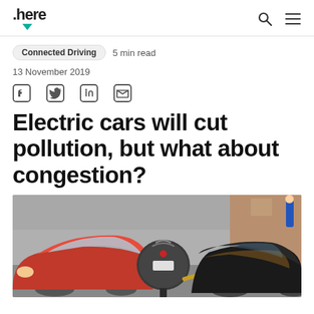.here
Connected Driving  5 min read
13 November 2019
Electric cars will cut pollution, but what about congestion?
[Figure (photo): An electric vehicle charging station with a black dome-shaped charger unit between a red car on the left and a dark car on the right. A yellow cable is visible. Background shows a brick building and pavement.]